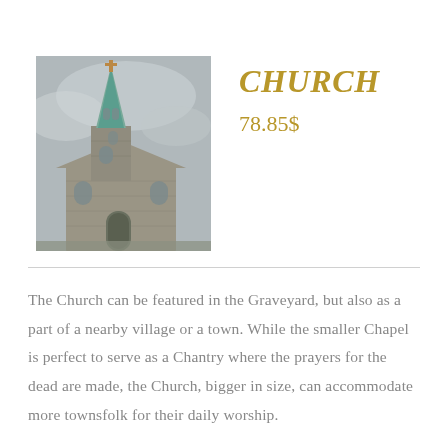[Figure (illustration): Painted illustration of a stone church with a green copper steeple against a grey sky]
Church
78.85$
The Church can be featured in the Graveyard, but also as a part of a nearby village or a town. While the smaller Chapel is perfect to serve as a Chantry where the prayers for the dead are made, the Church, bigger in size, can accommodate more townsfolk for their daily worship.